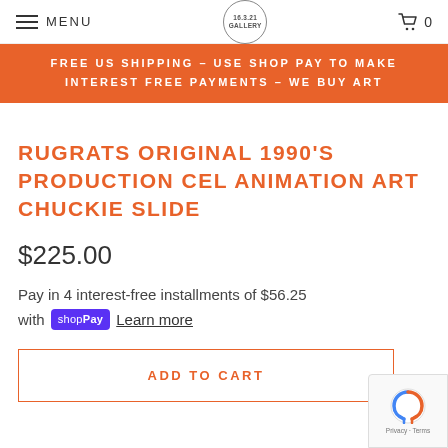MENU | GALLERY | 0
FREE US SHIPPING – USE SHOP PAY TO MAKE INTEREST FREE PAYMENTS – WE BUY ART
RUGRATS ORIGINAL 1990'S PRODUCTION CEL ANIMATION ART CHUCKIE SLIDE
$225.00
Pay in 4 interest-free installments of $56.25 with Shop Pay Learn more
ADD TO CART